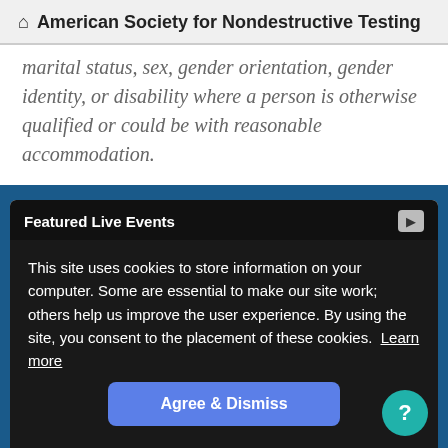American Society for Nondestructive Testing
marital status, sex, gender orientation, gender identity, or disability where a person is otherwise qualified or could be with reasonable accommodation.
Featured Live Events
This site uses cookies to store information on your computer. Some are essential to make our site work; others help us improve the user experience. By using the site, you consent to the placement of these cookies. Learn more
Agree & Dismiss